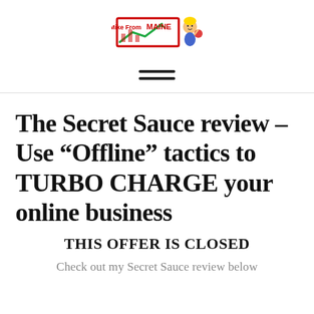[Figure (logo): Mike From Maine logo with cartoon character and bar chart with upward arrow]
≡
The Secret Sauce review – Use “Offline” tactics to TURBO CHARGE your online business
THIS OFFER IS CLOSED
Check out my Secret Sauce review below